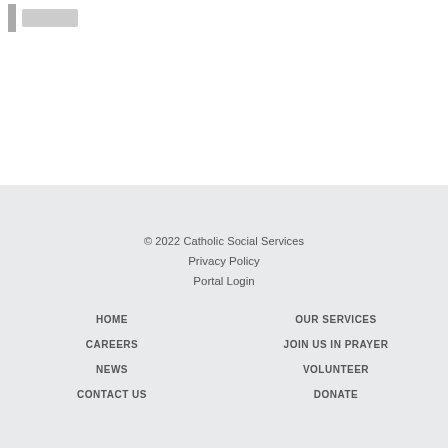[Figure (logo): Logo placeholder with gray bar and gray rectangle]
© 2022 Catholic Social Services
Privacy Policy
Portal Login
HOME
OUR SERVICES
CAREERS
JOIN US IN PRAYER
NEWS
VOLUNTEER
CONTACT US
DONATE